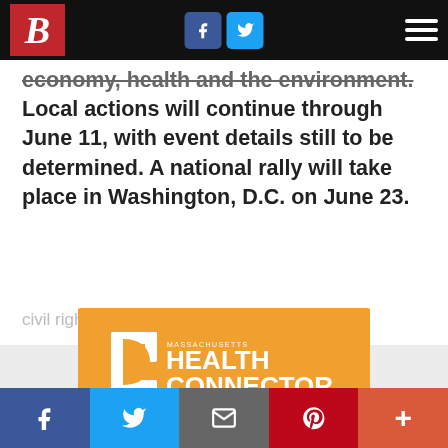B [logo] | Facebook | Twitter | Menu
economy, health and the environment. Local actions will continue through June 11, with event details still to be determined. A national rally will take place in Washington, D.C. on June 23.
civil rights
[Figure (logo): Massachusetts Health Connector advertisement banner on orange background with stylized H icon and text: MASSACHUSETTS HEALTH CONNECTOR the right place for the right plan]
Facebook | Twitter | Email | Pinterest | More